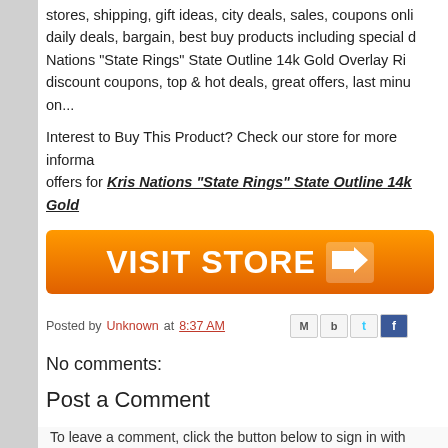stores, shipping, gift ideas, city deals, sales, coupons online, daily deals, bargain, best buy products including special deals for Kris Nations "State Rings" State Outline 14k Gold Overlay Rings, discount coupons, top & hot deals, great offers, last minute deals on...
Interest to Buy This Product? Check our store for more information and offers for Kris Nations "State Rings" State Outline 14k Gold...
[Figure (other): Orange VISIT STORE button with arrow]
Posted by Unknown at 8:37 AM
No comments:
Post a Comment
To leave a comment, click the button below to sign in with
[Figure (other): SIGN IN WITH GOOGLE blue button]